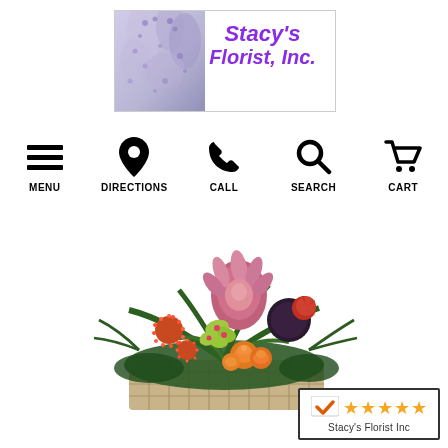[Figure (logo): Stacy's Florist Inc logo with floral background image on the left and purple italic text 'Stacy’s Florist, Inc.' on the right]
MENU
DIRECTIONS
CALL
SEARCH
CART
[Figure (photo): A flower arrangement in a woven basket featuring protea, pincushion flowers, orange roses, green cymbidium orchids, and dark decorative elements surrounded by tropical foliage]
[Figure (infographic): Rating badge showing a checkmark logo and five gold stars with the text 'Stacy’s Florist Inc' below]